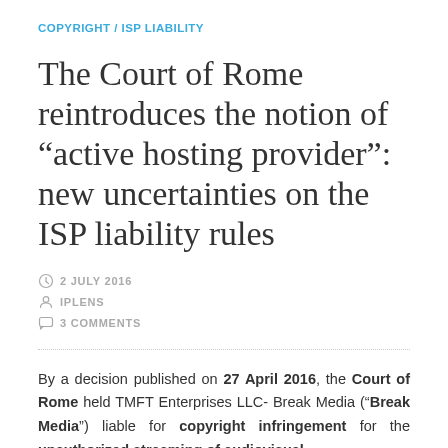COPYRIGHT / ISP LIABILITY
The Court of Rome reintroduces the notion of “active hosting provider”: new uncertainties on the ISP liability rules
2 JULY 2016
IPLENS
3 COMMENTS
By a decision published on 27 April 2016, the Court of Rome held TMFT Enterprises LLC- Break Media (“Break Media”) liable for copyright infringement for the unauthorized streaming of audiovisual